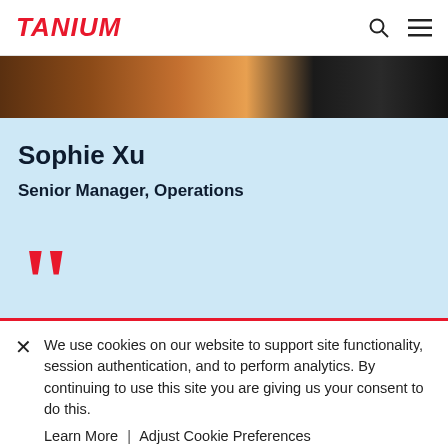TANIUM
[Figure (photo): Partial photo strip showing a person in dark/warm toned setting]
Sophie Xu
Senior Manager, Operations
[Figure (illustration): Large red quotation marks decorative element on light blue background]
We use cookies on our website to support site functionality, session authentication, and to perform analytics. By continuing to use this site you are giving us your consent to do this. Learn More | Adjust Cookie Preferences